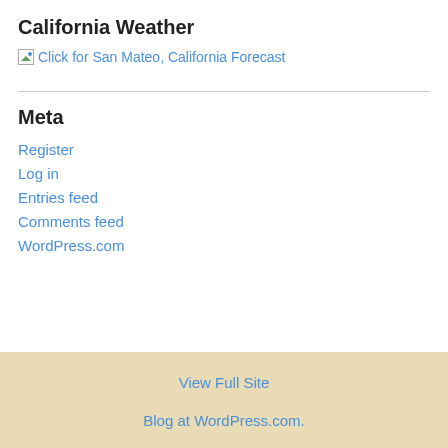California Weather
[Figure (other): Broken image icon with link text: Click for San Mateo, California Forecast]
Meta
Register
Log in
Entries feed
Comments feed
WordPress.com
View Full Site
Blog at WordPress.com.